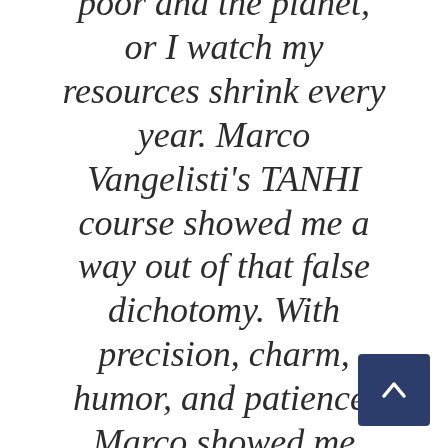poor and the planet, or I watch my resources shrink every year. Marco Vangelisti's TANHI course showed me a way out of that false dichotomy. With precision, charm, humor, and patience, Marco showed me exactly
[Figure (other): A dark blue scroll-to-top button with an upward-pointing chevron arrow in the bottom-right corner]